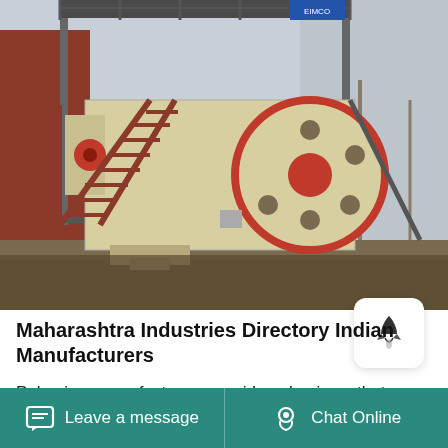[Figure (photo): Industrial jaw crusher or pulverizer machine outdoors, with red metal staircase on the left side, a large circular flywheel with red center and holes visible on the right, mounted on a steel frame structure. The machine is beige/cream colored, set on a gravel/earthen ground. A building with red walls is visible in the background.]
Maharashtra Industries Directory Indian Manufacturers
Pulverizer manufacturers provide pulverizers that can be used on many different material types